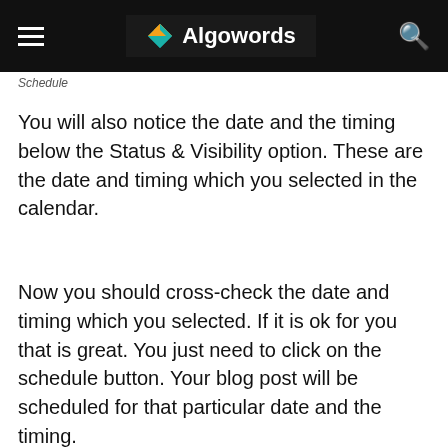Algowords
Schedule
You will also notice the date and the timing below the Status & Visibility option. These are the date and timing which you selected in the calendar.
Now you should cross-check the date and timing which you selected. If it is ok for you that is great. You just need to click on the schedule button. Your blog post will be scheduled for that particular date and the timing.